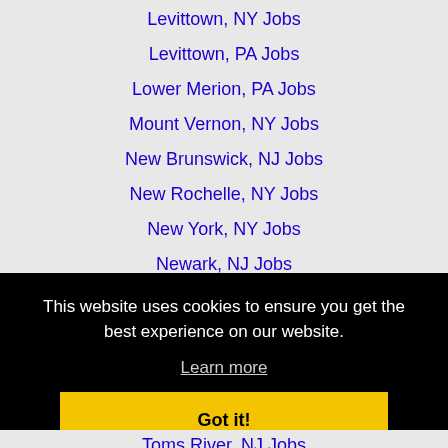Levittown, NY Jobs
Levittown, PA Jobs
Lower Merion, PA Jobs
Mount Vernon, NY Jobs
New Brunswick, NJ Jobs
New Rochelle, NY Jobs
New York, NY Jobs
Newark, NJ Jobs
North Bergen, NJ Jobs
This website uses cookies to ensure you get the best experience on our website.
Learn more
Got it!
Toms River, NJ Jobs